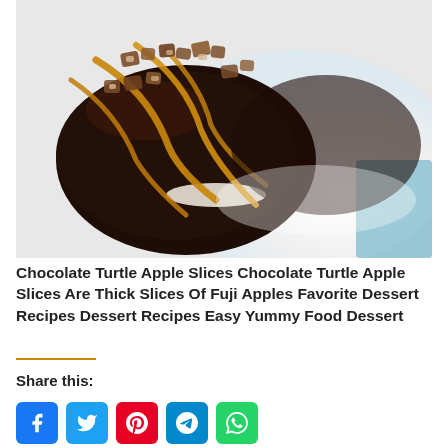[Figure (photo): Close-up photo of chocolate turtle apple slices on a white plate. Apple slices are coated in dark chocolate and drizzled with caramel sauce, topped with chopped pecans.]
Chocolate Turtle Apple Slices Chocolate Turtle Apple Slices Are Thick Slices Of Fuji Apples Favorite Dessert Recipes Dessert Recipes Easy Yummy Food Dessert
Share this: